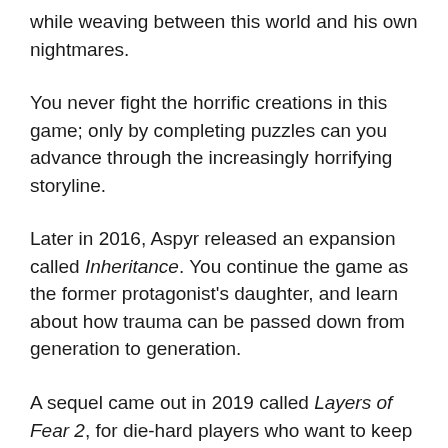while weaving between this world and his own nightmares.
You never fight the horrific creations in this game; only by completing puzzles can you advance through the increasingly horrifying storyline.
Later in 2016, Aspyr released an expansion called Inheritance. You continue the game as the former protagonist's daughter, and learn about how trauma can be passed down from generation to generation.
A sequel came out in 2019 called Layers of Fear 2, for die-hard players who want to keep playing.
Clock Tower (1995)